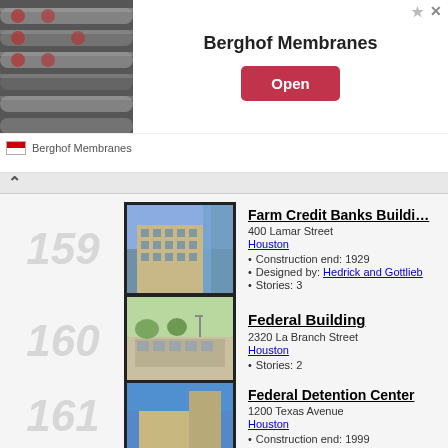[Figure (photo): Ad banner: Berghof Membranes with photo of industrial pipes/membranes and Open button]
159 - Farm Credit Banks Building, 400 Lamar Street, Houston. Construction end: 1929. Designed by: Hedrick and Gottlieb. Stories: 3
160 - Federal Building, 2320 La Branch Street, Houston. Stories: 2
161 - Federal Detention Center, 1200 Texas Avenue, Houston. Construction end: 1999
162 - Federal Reserve Building, Houston